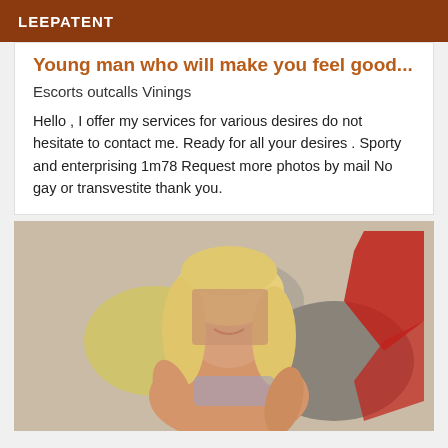LEEPATENT
Young man who will make you feel good...
Escorts outcalls Vinings
Hello , I offer my services for various desires do not hesitate to contact me. Ready for all your desires . Sporty and enterprising 1m78 Request more photos by mail No gay or transvestite thank you.
[Figure (photo): Blonde woman smiling in front of colorful painted wall background, face blurred]